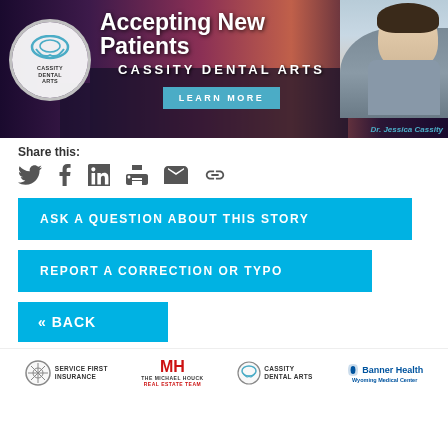[Figure (illustration): Cassity Dental Arts advertisement banner. Dark twilight sky background with pink/purple hues. Left: Cassity Dental Arts circle logo with tooth icon. Center: 'Accepting New Patients' in large white bold text, 'CASSITY DENTAL ARTS' subtitle, 'LEARN MORE' teal button. Right: Photo of Dr. Jessica Cassity smiling, wearing gray jacket. Her name in teal italic text at bottom right.]
Share this:
[Figure (infographic): Social share icons: Twitter bird, Facebook f, LinkedIn in, Print printer, Email envelope, Link chain]
ASK A QUESTION ABOUT THIS STORY
REPORT A CORRECTION OR TYPO
« BACK
[Figure (logo): Sponsor logos row: Service First Insurance (compass logo), The Michael Houck Real Estate Team (MH red logo), Cassity Dental Arts (tooth circle logo), Banner Health Wyoming Medical Center (blue logo)]